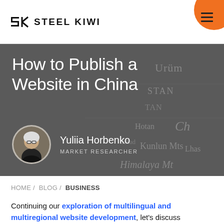SK STEEL KIWI
How to Publish a Website in China
Yuliia Horbenko
MARKET RESEARCHER
HOME / BLOG / BUSINESS
Continuing our exploration of multilingual and multiregional website development, let's discuss publishing web products in China.